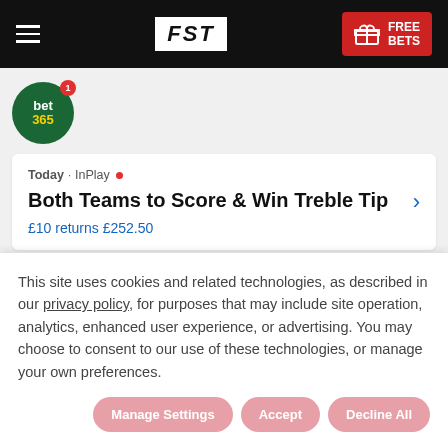FST | FREE BETS
[Figure (logo): bet365 green circle logo with badge showing number 1]
Today · InPlay
Both Teams to Score & Win Treble Tip
£10 returns £252.50
Today · InPlay
This site uses cookies and related technologies, as described in our privacy policy, for purposes that may include site operation, analytics, enhanced user experience, or advertising. You may choose to consent to our use of these technologies, or manage your own preferences.